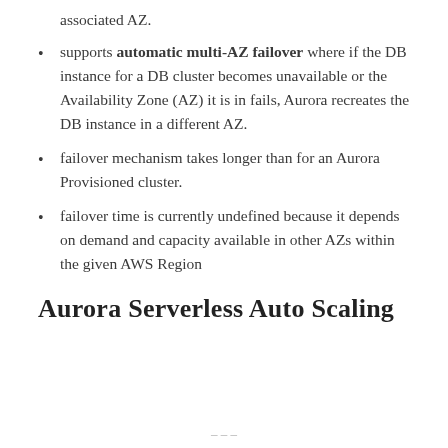associated AZ.
supports automatic multi-AZ failover where if the DB instance for a DB cluster becomes unavailable or the Availability Zone (AZ) it is in fails, Aurora recreates the DB instance in a different AZ.
failover mechanism takes longer than for an Aurora Provisioned cluster.
failover time is currently undefined because it depends on demand and capacity available in other AZs within the given AWS Region
Aurora Serverless Auto Scaling